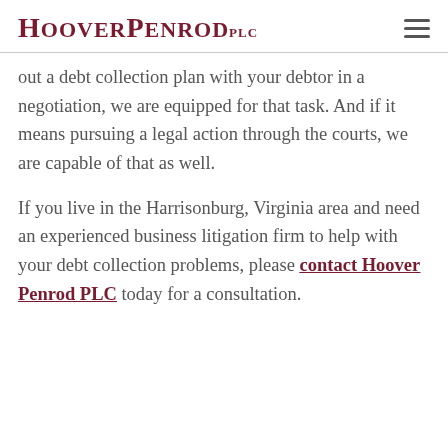Hoover Penrod PLC
out a debt collection plan with your debtor in a negotiation, we are equipped for that task. And if it means pursuing a legal action through the courts, we are capable of that as well.
If you live in the Harrisonburg, Virginia area and need an experienced business litigation firm to help with your debt collection problems, please contact Hoover Penrod PLC today for a consultation.